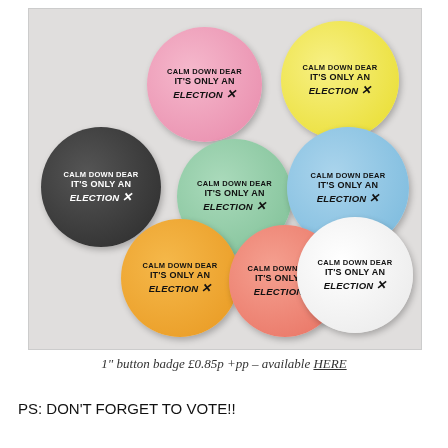[Figure (photo): Eight circular button badges in various colors (pink, yellow, dark/black, mint green, light blue, orange, salmon/pink, white), each printed with the text 'CALM DOWN DEAR IT'S ONLY AN ELECTION X' arranged on a light gray surface.]
1" button badge £0.85p +pp – available HERE
PS: DON'T FORGET TO VOTE!!